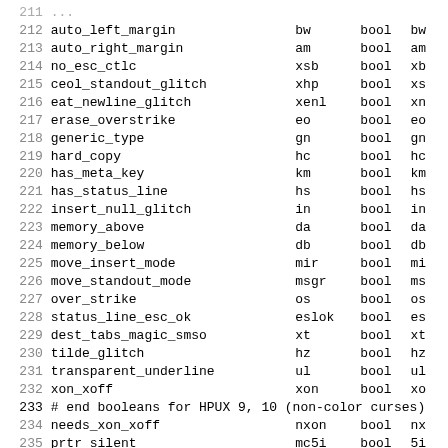| # | name | short | type | abbr |
| --- | --- | --- | --- | --- |
| 211 | ... | ... | ... | ... |
| 212 | auto_left_margin | bw | bool | bw |
| 213 | auto_right_margin | am | bool | am |
| 214 | no_esc_ctlc | xsb | bool | xb |
| 215 | ceol_standout_glitch | xhp | bool | xs |
| 216 | eat_newline_glitch | xenl | bool | xn |
| 217 | erase_overstrike | eo | bool | eo |
| 218 | generic_type | gn | bool | gn |
| 219 | hard_copy | hc | bool | hc |
| 220 | has_meta_key | km | bool | km |
| 221 | has_status_line | hs | bool | hs |
| 222 | insert_null_glitch | in | bool | in |
| 223 | memory_above | da | bool | da |
| 224 | memory_below | db | bool | db |
| 225 | move_insert_mode | mir | bool | mi |
| 226 | move_standout_mode | msgr | bool | ms |
| 227 | over_strike | os | bool | os |
| 228 | status_line_esc_ok | eslok | bool | es |
| 229 | dest_tabs_magic_smso | xt | bool | xt |
| 230 | tilde_glitch | hz | bool | hz |
| 231 | transparent_underline | ul | bool | ul |
| 232 | xon_xoff | xon | bool | xo |
| 233 | # end booleans for HPUX 9, 10 (non-color curses) |  |  |  |
| 234 | needs_xon_xoff | nxon | bool | nx |
| 235 | prtr_silent | mc5i | bool | 5i |
| 236 | hard_cursor | chts | bool | HC |
| 237 | non_rev_rmcup | nrrmc | bool | NR |
| 238 | no_pad_char | npc | bool | NP |
| 239 | non_dest_scroll_region | ndscr | bool | ND |
| 240 | can_change | ccc | bool | cc |
| 241 | back_color_erase | bce | bool | ut |
| 242 | hue_lightness_saturation | hls | bool | hl |
| 243 | col_addr_glitch | xhpa | bool | YA |